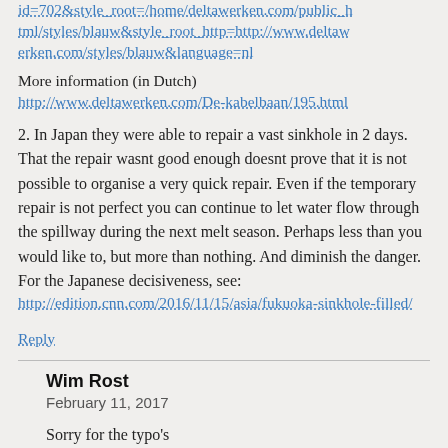id=702&style_root=/home/deltawerken.com/public_html/styles/blauw&style_root_http=http://www.deltawerken.com/styles/blauw&language=nl
More information (in Dutch)
http://www.deltawerken.com/De-kabelbaan/195.html
2. In Japan they were able to repair a vast sinkhole in 2 days. That the repair wasnt good enough doesnt prove that it is not possible to organise a very quick repair. Even if the temporary repair is not perfect you can continue to let water flow through the spillway during the next melt season. Perhaps less than you would like to, but more than nothing. And diminish the danger. For the Japanese decisiveness, see: http://edition.cnn.com/2016/11/15/asia/fukuoka-sinkhole-filled/
Reply
Wim Rost
February 11, 2017
Sorry for the typo's